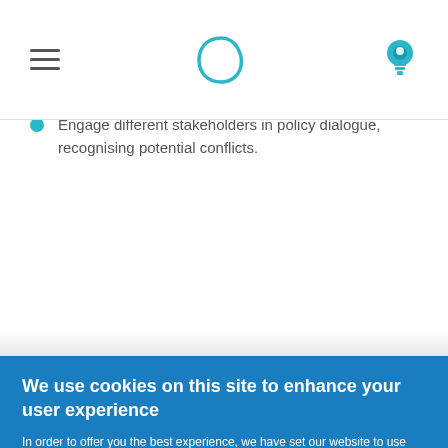[Figure (other): Website navigation bar with hamburger menu icon on left, teal rounded triangle logo in center, and teal lightbulb icon on right]
different sanitation and water management activities and link them with other ecosystem policies. Make clear the embedding in the international norms and rights.
Engage different stakeholders in policy dialogue, recognising potential conflicts.
We use cookies on this site to enhance your user experience
In order to offer you the best experience, we have set our website to use cookies. By pressing "OK, I agree" you agree that you are happy for us to use store these cookies. To get more details or to change your cookie settings for our website please see our data use policy. More info
OK, I agree    No, thanks